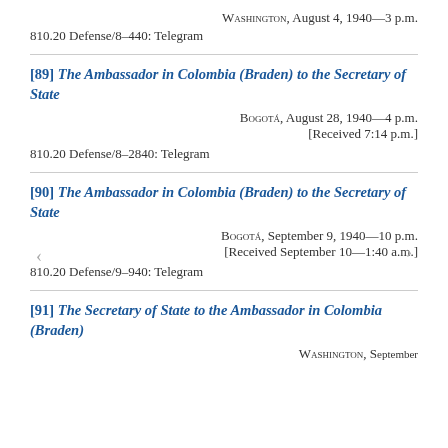Washington, August 4, 1940—3 p.m.
810.20 Defense/8–440: Telegram
[89] The Ambassador in Colombia (Braden) to the Secretary of State
Bogotá, August 28, 1940—4 p.m.
[Received 7:14 p.m.]
810.20 Defense/8–2840: Telegram
[90] The Ambassador in Colombia (Braden) to the Secretary of State
Bogotá, September 9, 1940—10 p.m.
[Received September 10—1:40 a.m.]
810.20 Defense/9–940: Telegram
[91] The Secretary of State to the Ambassador in Colombia (Braden)
Washington, September